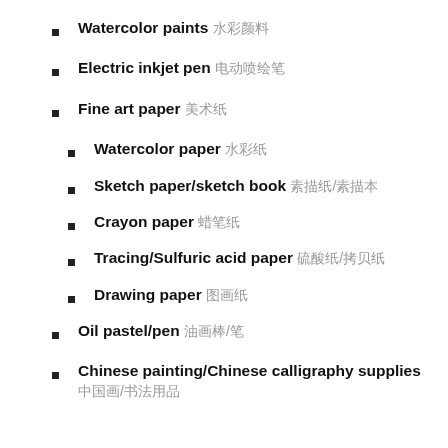Watercolor paints 水彩颜料
Electric inkjet pen 电动喷绘笔
Fine art paper 美术纸
Watercolor paper 水彩纸
Sketch paper/sketch book 素描纸/素描本
Crayon paper 蜡笔纸
Tracing/Sulfuric acid paper 硫酸纸/拷贝纸
Drawing paper 图画纸
Oil pastel/pen 油画棒/笔
Chinese painting/Chinese calligraphy supplies 中国画/书法用品